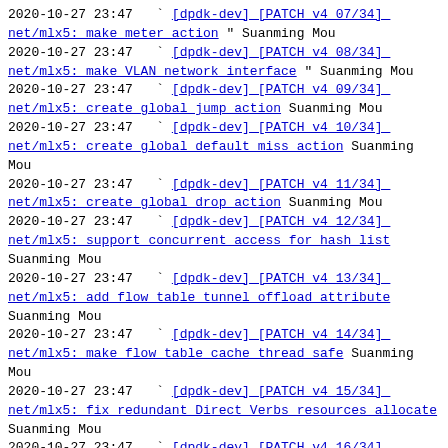2020-10-27 23:47  ` [dpdk-dev][PATCH v4 07/34]_net/mlx5: make meter action " Suanming Mou
2020-10-27 23:47  ` [dpdk-dev][PATCH v4 08/34]_net/mlx5: make VLAN network interface " Suanming Mou
2020-10-27 23:47  ` [dpdk-dev][PATCH v4 09/34]_net/mlx5: create global jump action Suanming Mou
2020-10-27 23:47  ` [dpdk-dev][PATCH v4 10/34]_net/mlx5: create global default miss action Suanming Mou
2020-10-27 23:47  ` [dpdk-dev][PATCH v4 11/34]_net/mlx5: create global drop action Suanming Mou
2020-10-27 23:47  ` [dpdk-dev][PATCH v4 12/34]_net/mlx5: support concurrent access for hash list Suanming Mou
2020-10-27 23:47  ` [dpdk-dev][PATCH v4 13/34]_net/mlx5: add flow table tunnel offload attribute Suanming Mou
2020-10-27 23:47  ` [dpdk-dev][PATCH v4 14/34]_net/mlx5: make flow table cache thread safe Suanming Mou
2020-10-27 23:47  ` [dpdk-dev][PATCH v4 15/34]_net/mlx5: fix redundant Direct Verbs resources allocate Suanming Mou
2020-10-27 23:47  ` [dpdk-dev][PATCH v4 16/34]_net/mlx5: make flow tag list thread safe Suanming Mou
2020-10-27 23:47  ` [dpdk-dev][PATCH v4 17/34]_net/mlx5: make flow modify action " Suanming Mou
2020-10-27 23:47  ` [dpdk-dev][PATCH v4 18/34]_net/mlx5: remove unused mreg copy code Suanming Mou
2020-10-27 23:47  ` [dpdk-dev][PATCH v4 19/34]_